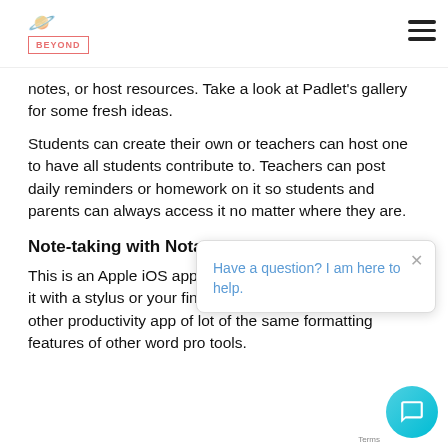BEYOND
notes, or host resources. Take a look at Padlet's gallery for some fresh ideas.
Students can create their own or teachers can host one to have all students contribute to. Teachers can post daily reminders or homework on it so students and parents can always access it no matter where they are.
Note-taking with Notability
This is an Apple iOS app o hand write and sketch within it with a stylus or your finger. You can type into it like any other productivity app of lot of the same formatting features of other word pro tools.